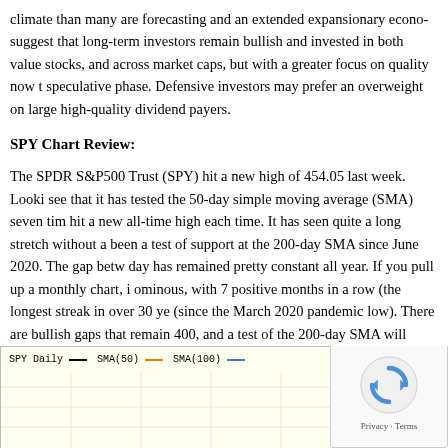climate than many are forecasting and an extended expansionary economy suggest that long-term investors remain bullish and invested in both value stocks, and across market caps, but with a greater focus on quality now than speculative phase. Defensive investors may prefer an overweight on large high-quality dividend payers.
SPY Chart Review:
The SPDR S&P500 Trust (SPY) hit a new high of 454.05 last week. Looking we see that it has tested the 50-day simple moving average (SMA) seven times and hit a new all-time high each time. It has seen quite a long stretch without a test, been a test of support at the 200-day SMA since June 2020. The gap between the day has remained pretty constant all year. If you pull up a monthly chart, it looks ominous, with 7 positive months in a row (the longest streak in over 30 years) (since the March 2020 pandemic low). There are bullish gaps that remain open near 400, and a test of the 200-day SMA will come at some point. Oscillators RSI are all curling over and pointing downward for perhaps another test of the any significant correction as a long-term buying opportunity.
[Figure (screenshot): SPY Daily stock chart showing price line, SMA(50) in orange, and SMA(100) in blue. Chart background is light yellow. Legend at top: SPY Daily (black line), SMA(50) (orange line), SMA(100) (blue line). Price action visible in lower right.]